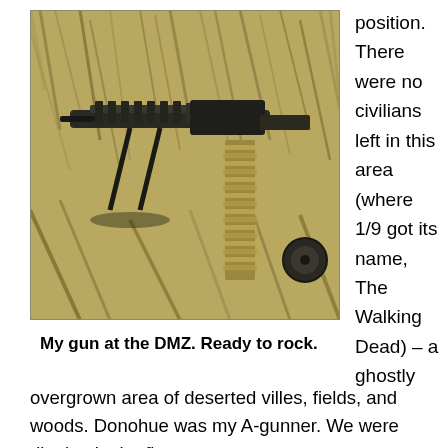[Figure (photo): A machine gun with ammunition belt, positioned in tall grass/field vegetation at the DMZ. Sepia-toned photograph.]
My gun at the DMZ. Ready to rock.
position. There were no civilians left in this area (where 1/9 got its name, The Walking Dead) – a ghostly overgrown area of deserted villes, fields, and woods. Donohue was my A-gunner. We were digging in the first